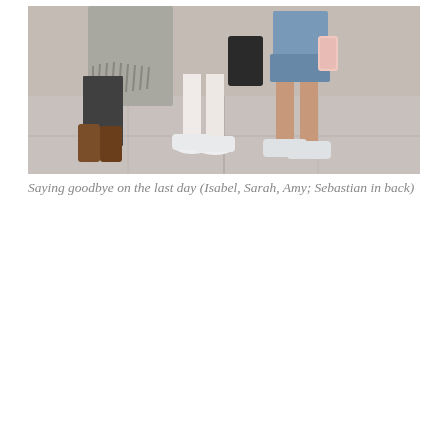[Figure (photo): A top-down or close-up photograph showing the lower bodies and feet of four people standing on a concrete sidewalk. From left to right: one person wearing dark pants and brown leather boots, one person wearing white sneakers (Keds/Converse style) with bare legs, one person wearing white low-top sneakers with bare legs, and a fourth person partially visible in the background wearing a gray fringed garment.]
Saying goodbye on the last day (Isabel, Sarah, Amy; Sebastian in back)